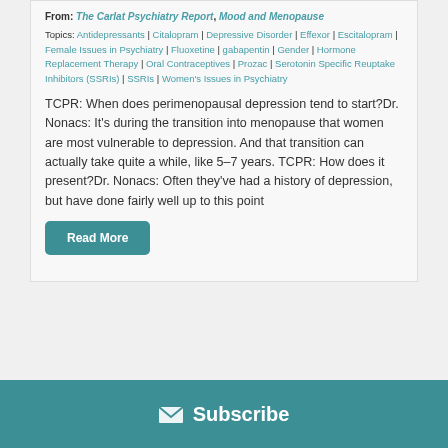From: The Carlat Psychiatry Report, Mood and Menopause
Topics: Antidepressants | Citalopram | Depressive Disorder | Effexor | Escitalopram | Female Issues in Psychiatry | Fluoxetine | gabapentin | Gender | Hormone Replacement Therapy | Oral Contraceptives | Prozac | Serotonin Specific Reuptake Inhibitors (SSRIs) | SSRIs | Women's Issues in Psychiatry
TCPR: When does perimenopausal depression tend to start?Dr. Nonacs: It's during the transition into menopause that women are most vulnerable to depression. And that transition can actually take quite a while, like 5–7 years. TCPR: How does it present?Dr. Nonacs: Often they've had a history of depression, but have done fairly well up to this point
Read More
Subscribe